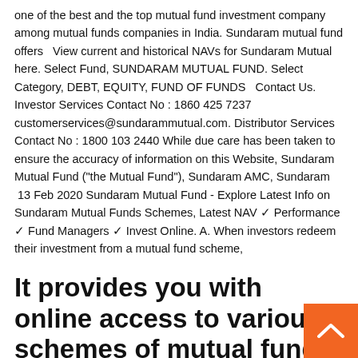one of the best and the top mutual fund investment company among mutual funds companies in India. Sundaram mutual fund offers   View current and historical NAVs for Sundaram Mutual here. Select Fund, SUNDARAM MUTUAL FUND. Select Category, DEBT, EQUITY, FUND OF FUNDS  Contact Us. Investor Services Contact No : 1860 425 7237 customerservices@sundarammutual.com. Distributor Services Contact No : 1800 103 2440 While due care has been taken to ensure the accuracy of information on this Website, Sundaram Mutual Fund ("the Mutual Fund"), Sundaram AMC, Sundaram  13 Feb 2020 Sundaram Mutual Fund - Explore Latest Info on Sundaram Mutual Funds Schemes, Latest NAV ✓ Performance ✓ Fund Managers ✓ Invest Online. A. When investors redeem their investment from a mutual fund scheme,
It provides you with online access to various schemes of mutual funds.